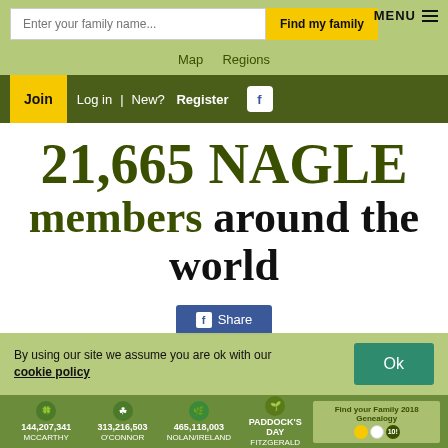MENU
Enter your family name...
Find my family
Map   Regions
Join  Log in  | New? Register
21,665 NAGLE members around the world
Share
By using our site we assume you are ok with our cookie policy
Ok